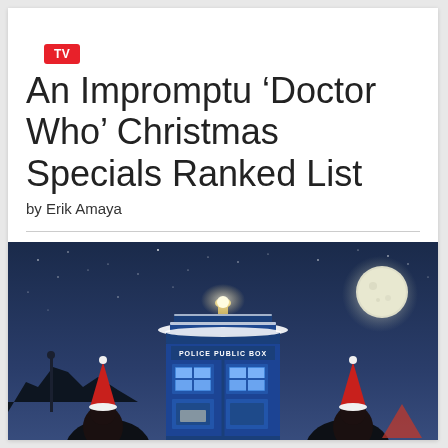TV
An Impromptu ‘Doctor Who’ Christmas Specials Ranked List
by Erik Amaya
[Figure (photo): A nighttime scene showing the TARDIS (blue police box) covered in snow, with a bright light on top, a full moon in the background, and figures in Santa hats on either side. Text on the box reads POLICE PUBLIC BOX.]